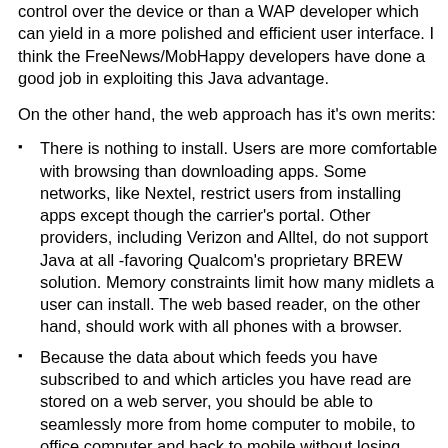control over the device or than a WAP developer which can yield in a more polished and efficient user interface. I think the FreeNews/MobHappy developers have done a good job in exploiting this Java advantage.
On the other hand, the web approach has it's own merits:
There is nothing to install. Users are more comfortable with browsing than downloading apps. Some networks, like Nextel, restrict users from installing apps except though the carrier's portal. Other providers, including Verizon and Alltel, do not support Java at all -favoring Qualcom's proprietary BREW solution. Memory constraints limit how many midlets a user can install. The web based reader, on the other hand, should work with all phones with a browser.
Because the data about which feeds you have subscribed to and which articles you have read are stored on a web server, you should be able to seamlessly more from home computer to mobile, to office computer and back to mobile without losing track of what you are reading. For this to work you need a reader with usable web and WAP versions. Unfortunately, I don't think there is one yet. Neither